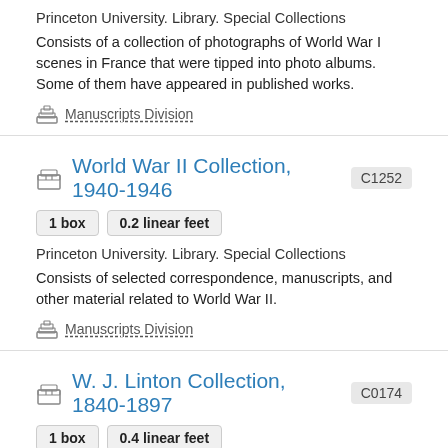Princeton University. Library. Special Collections
Consists of a collection of photographs of World War I scenes in France that were tipped into photo albums. Some of them have appeared in published works.
Manuscripts Division
World War II Collection, 1940-1946 C1252
1 box  0.2 linear feet
Princeton University. Library. Special Collections
Consists of selected correspondence, manuscripts, and other material related to World War II.
Manuscripts Division
W. J. Linton Collection, 1840-1897 C0174
1 box  0.4 linear feet